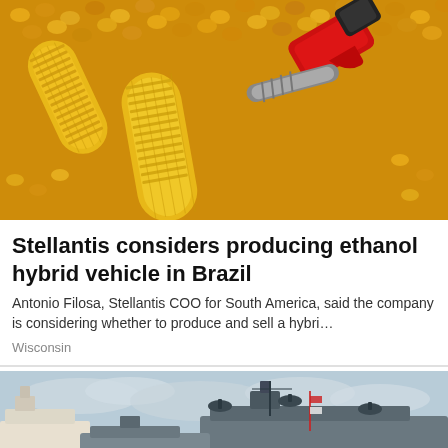[Figure (photo): Corn cobs and loose corn kernels with a red fuel pump nozzle, representing ethanol/biofuel]
Stellantis considers producing ethanol hybrid vehicle in Brazil
Antonio Filosa, Stellantis COO for South America, said the company is considering whether to produce and sell a hybri…
Wisconsin
[Figure (photo): Naval warships docked at port with overcast sky, military vessels with visible armaments]